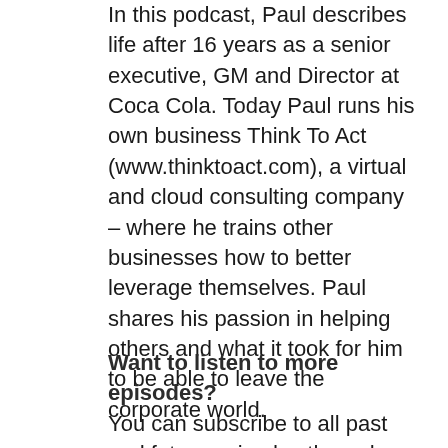In this podcast, Paul describes life after 16 years as a senior executive, GM and Director at Coca Cola. Today Paul runs his own business Think To Act (www.thinktoact.com), a virtual and cloud consulting company – where he trains other businesses how to better leverage themselves. Paul shares his passion in helping others and what it took for him to be able to leave the corporate world.
Want to listen to more episodes?
You can subscribe to all past and future episodes through any of your favourite stations. Simply click one of the buttons below